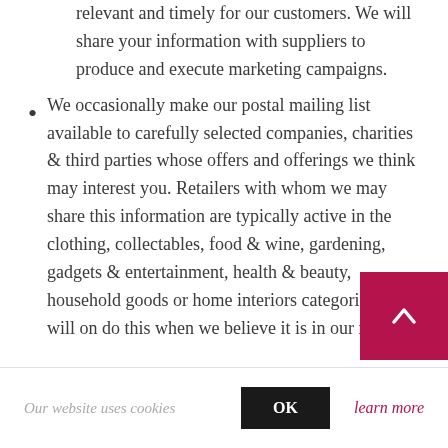relevant and timely for our customers. We will share your information with suppliers to produce and execute marketing campaigns.
We occasionally make our postal mailing list available to carefully selected companies, charities & third parties whose offers and offerings we think may interest you. Retailers with whom we may share this information are typically active in the clothing, collectables, food & wine, gardening, gadgets & entertainment, health & beauty, household goods or home interiors categories. We will on do this when we believe it is in our m
Our website uses cookies
OK
learn more